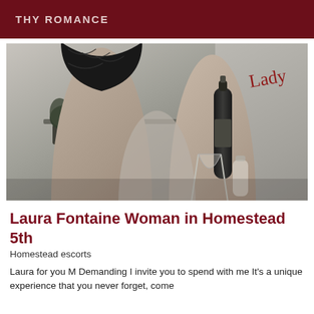THY ROMANCE
[Figure (photo): Black and white photo of a woman in black lingerie standing with a champagne bottle and glass on a surface, with a plant visible in the background]
Laura Fontaine Woman in Homestead 5th
Homestead escorts
Laura for you M Demanding I invite you to spend with me It's a unique experience that you never forget, come